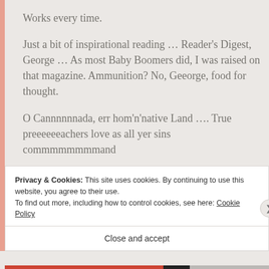Works every time.
Just a bit of inspirational reading … Reader's Digest, George … As most Baby Boomers did, I was raised on that magazine. Ammunition? No, Geeorge, food for thought.
O Cannnnnnada, err hom'n'native Land …. True preeeeeeachers love as all yer sins commmmmmmmand
Privacy & Cookies: This site uses cookies. By continuing to use this website, you agree to their use.
To find out more, including how to control cookies, see here: Cookie Policy
Close and accept